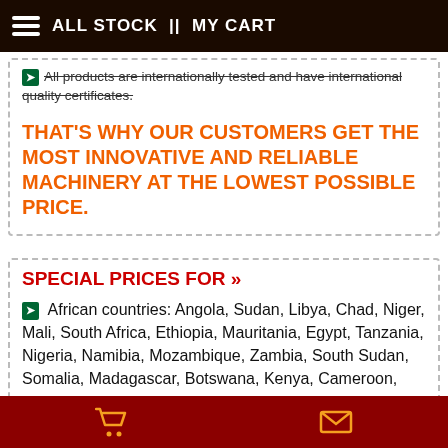ALL STOCK | | MY CART
All products are internationally tested and have international quality certificates.
THAT'S WHY OUR CUSTOMERS GET THE MOST INNOVATIVE AND RELIABLE MACHINERY AT THE LOWEST POSSIBLE PRICE.
SPECIAL PRICES FOR »
African countries: Angola, Sudan, Libya, Chad, Niger, Mali, South Africa, Ethiopia, Mauritania, Egypt, Tanzania, Nigeria, Namibia, Mozambique, Zambia, South Sudan, Somalia, Madagascar, Botswana, Kenya, Cameroon, Morocco, Zimbabwe, Republic of the Congo, Guinea, Ghana, Uganda, Gambia, Djibouti, Rwanda, Burundi, Tunisia, Sierra Leone, Benin, Liberia, Senegal, Gambia, Cameroon,